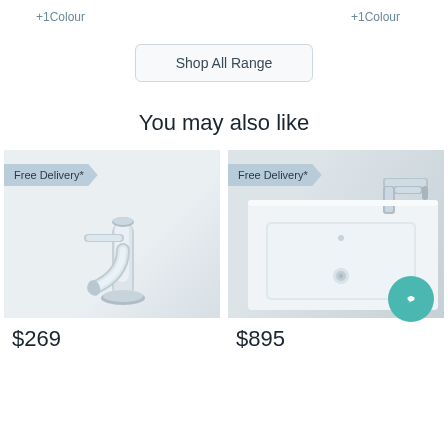+1Colour
+1Colour
Shop All Range
You may also like
[Figure (photo): Chrome basin mixer tap/faucet on light grey background with Free Delivery* badge]
$269
[Figure (photo): White rectangular sink/basin with wall-mounted chrome faucet on white background with Free Delivery* badge]
$895